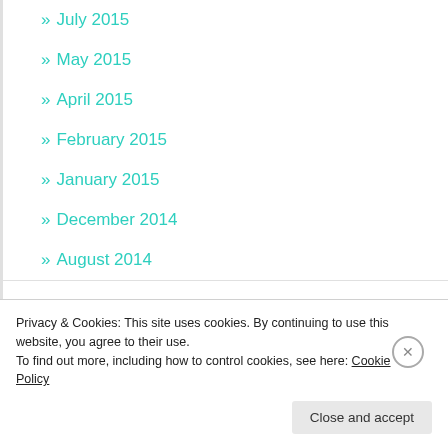» July 2015
» May 2015
» April 2015
» February 2015
» January 2015
» December 2014
» August 2014
CATEGORIES
» Uncategorized
Privacy & Cookies: This site uses cookies. By continuing to use this website, you agree to their use.
To find out more, including how to control cookies, see here: Cookie Policy